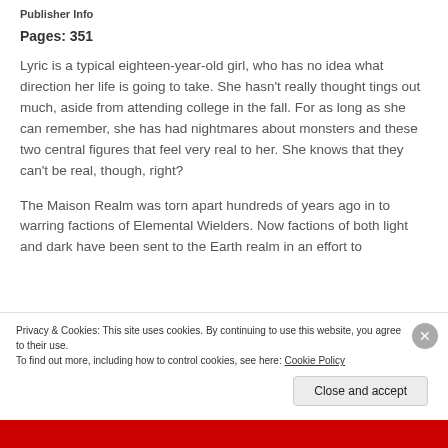Publisher Info
Pages: 351
Lyric is a typical eighteen-year-old girl, who has no idea what direction her life is going to take. She hasn't really thought tings out much, aside from attending college in the fall. For as long as she can remember, she has had nightmares about monsters and these two central figures that feel very real to her. She knows that they can't be real, though, right?
The Maison Realm was torn apart hundreds of years ago in to warring factions of Elemental Wielders. Now factions of both light and dark have been sent to the Earth realm in an effort to
Privacy & Cookies: This site uses cookies. By continuing to use this website, you agree to their use.
To find out more, including how to control cookies, see here: Cookie Policy
Close and accept